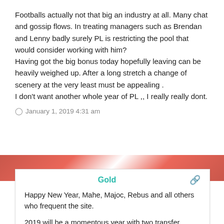Footballs actually not that big an industry at all. Many chat and gossip flows. In treating managers such as Brendan and Lenny badly surely PL is restricting the pool that would consider working with him?
Having got the big bonus today hopefully leaving can be heavily weighed up. After a long stretch a change of scenery at the very least must be appealing .
I don't want another whole year of PL ,, I really really dont.
January 1, 2019 4:31 am
Gold
Happy New Year, Mahe, Majoc, Rebus and all others who frequent the site.

2019 will be a momentous year with two transfer windows that will have a massive effect on our quest for titles eight & nine.

Our friends over at Ibrox will continue to spend what they can't generate in order to stop us and activate King's 'pack of cards'